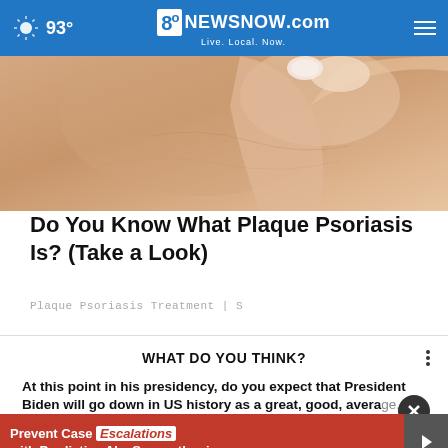93° 8NewsNow.com Live. Local. Now.
[Figure (photo): Close-up photo of a hand touching skin, related to plaque psoriasis article]
Do You Know What Plaque Psoriasis Is? (Take a Look)
Plaque Psoriasis Treatment | S
WHAT DO YOU THINK?
At this point in his presidency, do you expect that President Biden will go down in US history as a great, good, average, or below-average president?
[Figure (screenshot): Advertisement banner: Prevent Case Escalations with Predictive AI - SupportLogic]